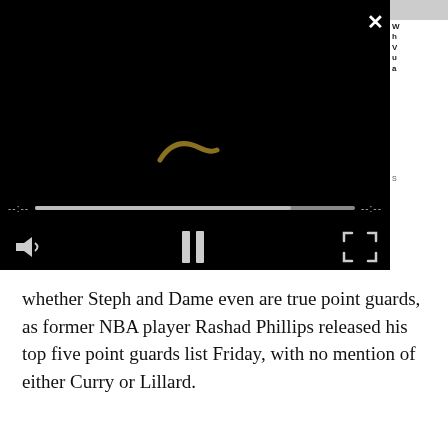[Figure (screenshot): Embedded video player with black background, a loading/buffering spinner graphic in the center (gold curved swoosh shape), a progress/seek bar near bottom, and playback controls: volume icon on left, pause button in center, fullscreen icon on right. A white X close button appears in top right corner.]
whether Steph and Dame even are true point guards, as former NBA player Rashad Phillips released his top five point guards list Friday, with no mention of either Curry or Lillard.